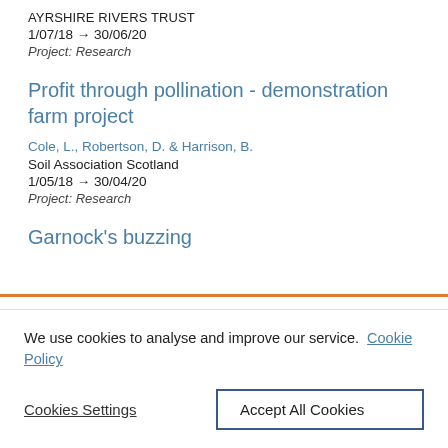AYRSHIRE RIVERS TRUST
1/07/18 → 30/06/20
Project: Research
Profit through pollination - demonstration farm project
Cole, L., Robertson, D. & Harrison, B.
Soil Association Scotland
1/05/18 → 30/04/20
Project: Research
Garnock's buzzing
We use cookies to analyse and improve our service.  Cookie Policy
Cookies Settings
Accept All Cookies